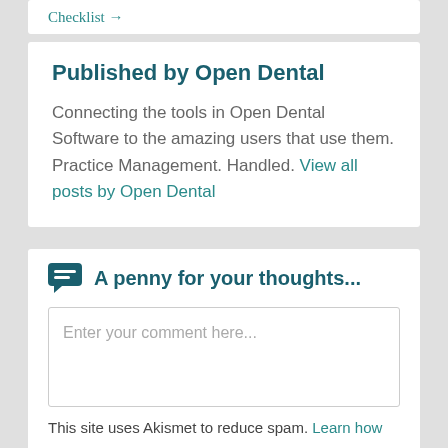Checklist →
Published by Open Dental
Connecting the tools in Open Dental Software to the amazing users that use them. Practice Management. Handled. View all posts by Open Dental
💬 A penny for your thoughts...
Enter your comment here...
This site uses Akismet to reduce spam. Learn how